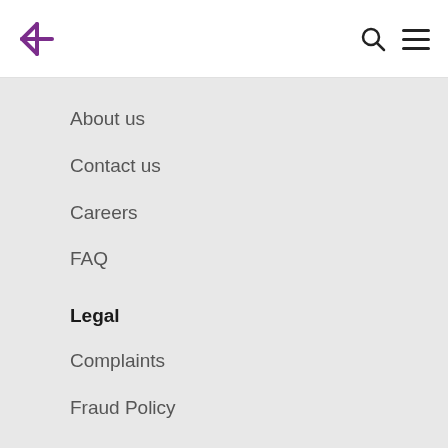Logo and navigation icons
About us
Contact us
Careers
FAQ
Legal
Complaints
Fraud Policy
Terms and Conditions
Privacy Policy